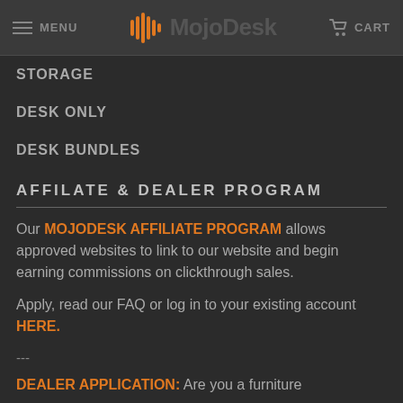MENU | MojoDesk | CART
STORAGE
DESK ONLY
DESK BUNDLES
AFFILATE & DEALER PROGRAM
Our MOJODESK AFFILIATE PROGRAM allows approved websites to link to our website and begin earning commissions on clickthrough sales.
Apply, read our FAQ or log in to your existing account HERE.
---
DEALER APPLICATION: Are you a furniture